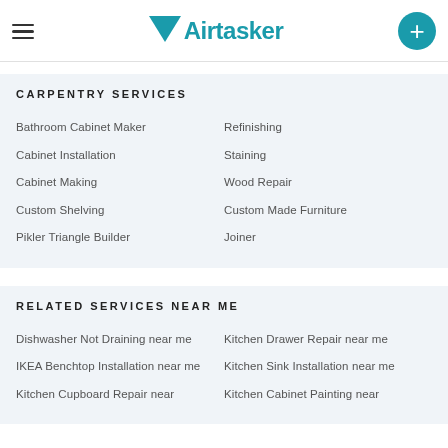Airtasker
CARPENTRY SERVICES
Bathroom Cabinet Maker
Refinishing
Cabinet Installation
Staining
Cabinet Making
Wood Repair
Custom Shelving
Custom Made Furniture
Pikler Triangle Builder
Joiner
RELATED SERVICES NEAR ME
Dishwasher Not Draining near me
Kitchen Drawer Repair near me
IKEA Benchtop Installation near me
Kitchen Sink Installation near me
Kitchen Cupboard Repair near
Kitchen Cabinet Painting near